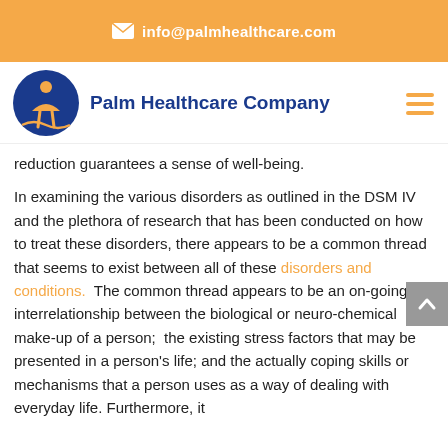✉ info@palmhealthcare.com
[Figure (logo): Palm Healthcare Company logo with blue circle and orange figure, nav bar with hamburger menu]
reduction guarantees a sense of well-being.
In examining the various disorders as outlined in the DSM IV and the plethora of research that has been conducted on how to treat these disorders, there appears to be a common thread that seems to exist between all of these disorders and conditions.  The common thread appears to be an on-going interrelationship between the biological or neuro-chemical make-up of a person;  the existing stress factors that may be presented in a person's life; and the actually coping skills or mechanisms that a person uses as a way of dealing with everyday life. Furthermore, it